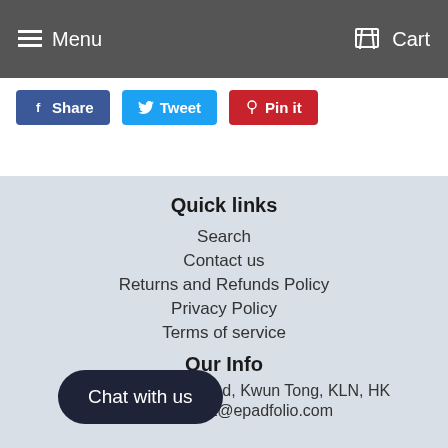Menu   Cart
[Figure (screenshot): Social share buttons: Share (Facebook, blue), Tweet (Twitter, cyan), Pin it (Pinterest, red)]
Quick links
Search
Contact us
Returns and Refunds Policy
Privacy Policy
Terms of service
Our Info
A...7-169, Hoi Bun Road, Kwun Tong, KLN, HK
Email  support@epadfolio.com
Chat with us